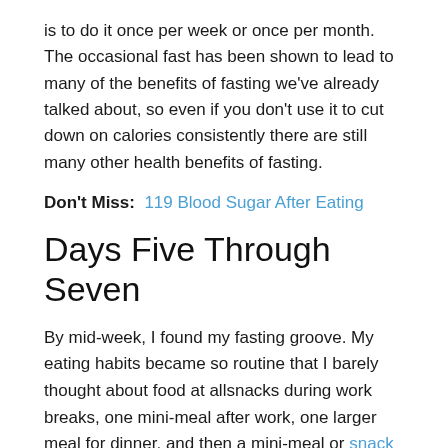is to do it once per week or once per month. The occasional fast has been shown to lead to many of the benefits of fasting we've already talked about, so even if you don't use it to cut down on calories consistently there are still many other health benefits of fasting.
Don't Miss:  119 Blood Sugar After Eating
Days Five Through Seven
By mid-week, I found my fasting groove. My eating habits became so routine that I barely thought about food at allsnacks during work breaks, one mini-meal after work, one larger meal for dinner, and then a mini-meal or snack before bed, depending on what I felt I needed to see me through the fasting period. I also started putting more effort into the process by planning meals ahead, casually